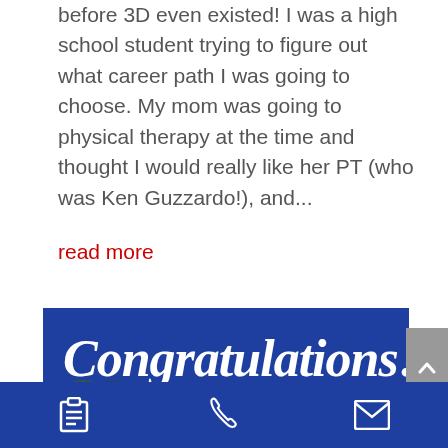before 3D even existed! I was a high school student trying to figure out what career path I was going to choose. My mom was going to physical therapy at the time and thought I would really like her PT (who was Ken Guzzardo!), and...
read more
[Figure (photo): Congratulations banner in blue with white script text, showing three graduation photos below: person with bird of prey, person in graduation cap, and smiling woman]
Navigation bar with clipboard icon, phone icon, and mail icon